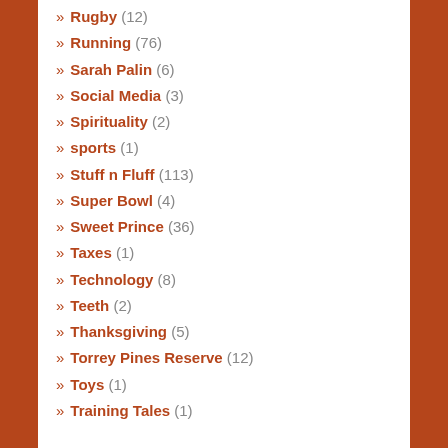» Rugby (12)
» Running (76)
» Sarah Palin (6)
» Social Media (3)
» Spirituality (2)
» sports (1)
» Stuff n Fluff (113)
» Super Bowl (4)
» Sweet Prince (36)
» Taxes (1)
» Technology (8)
» Teeth (2)
» Thanksgiving (5)
» Torrey Pines Reserve (12)
» Toys (1)
» Training Tales (1)